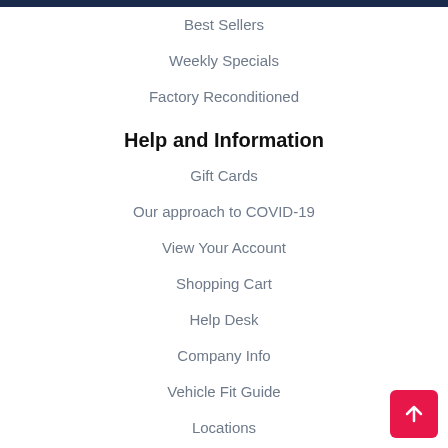Best Sellers
Weekly Specials
Factory Reconditioned
Help and Information
Gift Cards
Our approach to COVID-19
View Your Account
Shopping Cart
Help Desk
Company Info
Vehicle Fit Guide
Locations
Site Map